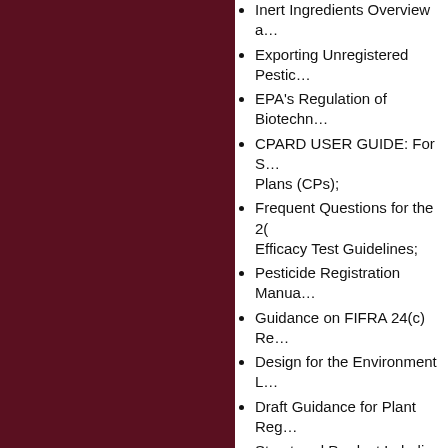Inert Ingredients Overview a…
Exporting Unregistered Pestic…
EPA's Regulation of Biotechn…
CPARD USER GUIDE: For S… Plans (CPs);
Frequent Questions for the 2… Efficacy Test Guidelines;
Pesticide Registration Manua…
Guidance on FIFRA 24(c) Re…
Design for the Environment L…
Draft Guidance for Plant Reg…
Structured Product Labeling (… Guide;
Reregistration and Other Rev…
FIFRA Pesticides Export Polic… Active Ingredient Concentrati…
State FIFRA Issues, Researc… Development and Implementa…
E-FAST, Down the Drain Asse…
Under OECA, there are six documen… are:
Compliance Advisory: High N… Concerns;
Good Laboratory Practices -…